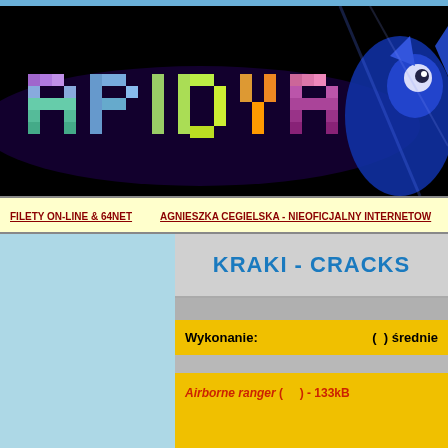[Figure (screenshot): APIDYA game banner/logo on black background with colorful pixel-style text and a blue character on the right]
FILETY ON-LINE & 64NET    AGNIESZKA CEGIELSKA - NIEOFICJALNY INTERNETOW
KRAKI - CRACKS
Wykonanie:    (  ) średnie
Airborne ranger (    ) - 133kB